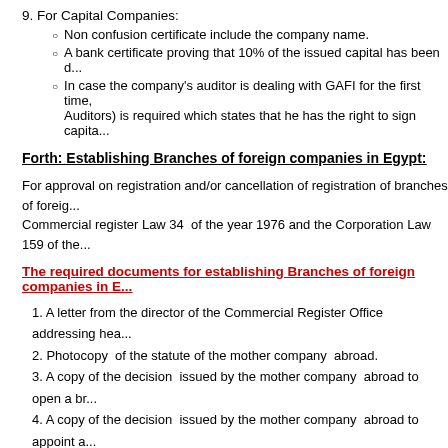9. For Capital Companies:
Non confusion certificate include the company name.
A bank certificate proving that 10% of the issued capital has been d...
In case the company's auditor is dealing with GAFI for the first time, ... Auditors) is required which states that he has the right to sign capita...
Forth: Establishing Branches of foreign companies in Egypt:
For approval on registration and/or cancellation of registration of branches of foreign... Commercial register Law 34 of the year 1976 and the Corporation Law 159 of the...
The required documents for establishing Branches of foreign companies in E...
1. A letter from the director of the Commercial Register Office addressing hea...
2. Photocopy of the statute of the mother company abroad.
3. A copy of the decision issued by the mother company abroad to open a br...
4. A copy of the decision issued by the mother company abroad to appoint a...
5. A copy of the decision issued by the mother company abroad that no othe...
6. A photocopy of a bank certificate proving the transfer of what is equivalent t... under the name of the branch.
7. A copy of the lease contract or the title deed of the premises.
8. A copy of the construction contract or agreement concluded for the executi...
The contract should state a set objective, duration and value.
All documents should be translated and notarized by the Egyptian embass...
For construction contracts related to construction activities, a certificate of p... registered. The certificate should be presented in English and coupled with...